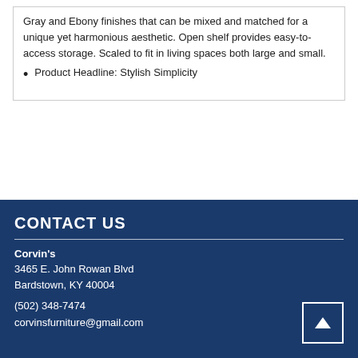Gray and Ebony finishes that can be mixed and matched for a unique yet harmonious aesthetic. Open shelf provides easy-to-access storage. Scaled to fit in living spaces both large and small.
Product Headline: Stylish Simplicity
CONTACT US
Corvin's
3465 E. John Rowan Blvd
Bardstown, KY 40004

(502) 348-7474

corvinsfurniture@gmail.com